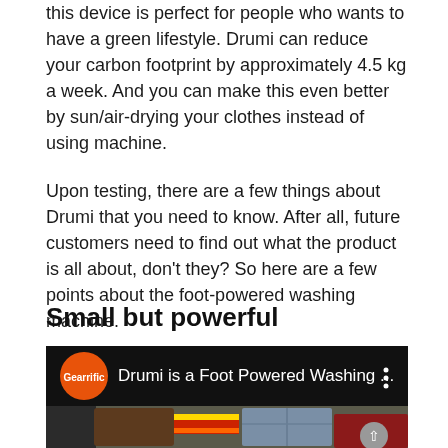this device is perfect for people who wants to have a green lifestyle. Drumi can reduce your carbon footprint by approximately 4.5 kg a week. And you can make this even better by sun/air-drying your clothes instead of using machine.
Upon testing, there are a few things about Drumi that you need to know. After all, future customers need to find out what the product is all about, don't they? So here are a few points about the foot-powered washing machine.
Small but powerful
[Figure (screenshot): YouTube-style video thumbnail with dark header bar showing orange 'Gearrific' logo circle on left, white text 'Drumi is a Foot Powered Washing ...' and a three-dot menu icon on right. Below is an image of luggage/suitcases in a car trunk with colorful clothing. A grey upward arrow button appears in the bottom right.]